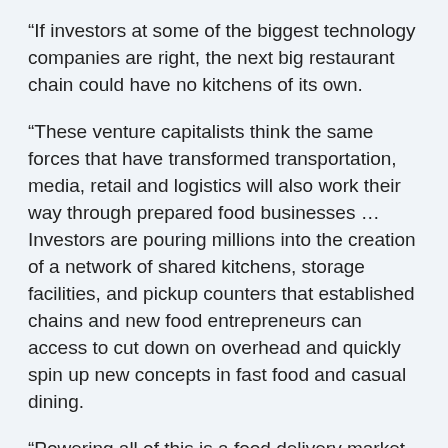“If investors at some of the biggest technology companies are right, the next big restaurant chain could have no kitchens of its own.
“These venture capitalists think the same forces that have transformed transportation, media, retail and logistics will also work their way through prepared food businesses … Investors are pouring millions into the creation of a network of shared kitchens, storage facilities, and pickup counters that established chains and new food entrepreneurs can access to cut down on overhead and quickly spin up new concepts in fast food and casual dining.
“Powering all of this is a food delivery market that could grow from $35 billion to a $365 billion industry by 2030, according to a report from UBS’s research group, the ‘Evidence Lab.’”